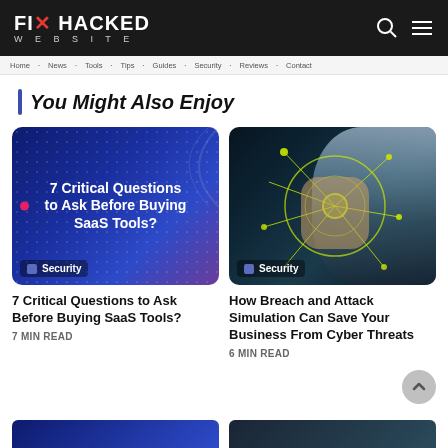FIX HACKED WEBSITE
You Might Also Enjoy
[Figure (illustration): Dark blue/purple card image with dot pattern and text: 7 Critical Questions to Ask Before Buying SaaS Tools? with Security badge]
[Figure (photo): Cybersecurity themed photo showing a fist with glowing network/circuit overlay on dark background with Security badge]
7 Critical Questions to Ask Before Buying SaaS Tools?
7 MIN READ
How Breach and Attack Simulation Can Save Your Business From Cyber Threats
6 MIN READ